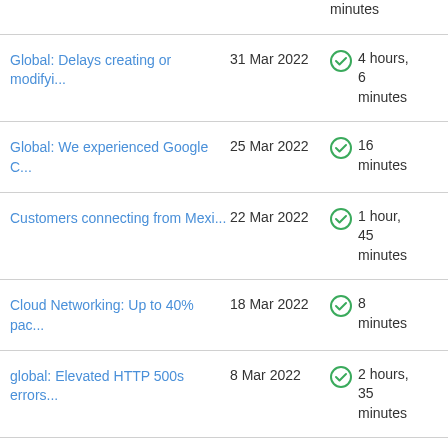Global: Delays creating or modifyi... | 31 Mar 2022 | 4 hours, 6 minutes
Global: We experienced Google C... | 25 Mar 2022 | 16 minutes
Customers connecting from Mexi... | 22 Mar 2022 | 1 hour, 45 minutes
Cloud Networking: Up to 40% pac... | 18 Mar 2022 | 8 minutes
global: Elevated HTTP 500s errors... | 8 Mar 2022 | 2 hours, 35 minutes
3 hours,